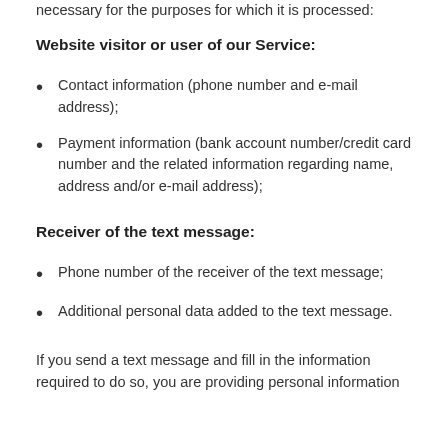necessary for the purposes for which it is processed:
Website visitor or user of our Service:
Contact information (phone number and e-mail address);
Payment information (bank account number/credit card number and the related information regarding name, address and/or e-mail address);
Receiver of the text message:
Phone number of the receiver of the text message;
Additional personal data added to the text message.
If you send a text message and fill in the information required to do so, you are providing personal information